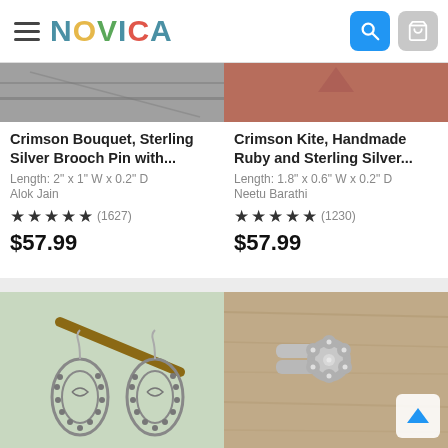NOVICA
[Figure (photo): Partial view of Crimson Bouquet Sterling Silver Brooch Pin product photo (top portion, gray/wood background)]
Crimson Bouquet, Sterling Silver Brooch Pin with...
Length: 2" x 1" W x 0.2" D
Alok Jain
★★★★★ (1627)
$57.99
[Figure (photo): Partial view of Crimson Kite Ruby and Sterling Silver product photo (top portion, pink/rose background)]
Crimson Kite, Handmade Ruby and Sterling Silver...
Length: 1.8" x 0.6" W x 0.2" D
Neetu Barathi
★★★★★ (1230)
$57.99
[Figure (photo): Silver teardrop filigree dangle earrings on a wooden branch, light green background]
[Figure (photo): Sterling silver floral ring on wood surface]